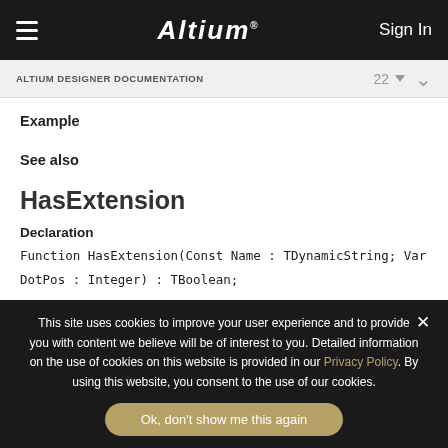Altium  Sign In
ALTIUM DESIGNER DOCUMENTATION  22
Example
See also
HasExtension
Declaration
This site uses cookies to improve your user experience and to provide you with content we believe will be of interest to you. Detailed information on the use of cookies on this website is provided in our Privacy Policy. By using this website, you consent to the use of our cookies.
Ok, don't show me this again